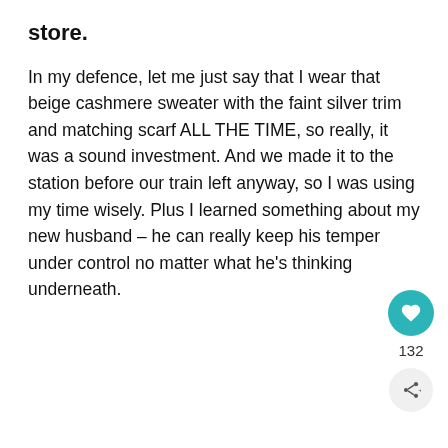store.
In my defence, let me just say that I wear that beige cashmere sweater with the faint silver trim and matching scarf ALL THE TIME, so really, it was a sound investment. And we made it to the station before our train left anyway, so I was using my time wisely. Plus I learned something about my new husband – he can really keep his temper under control no matter what he's thinking underneath.
[Figure (other): Teal circular heart/like button icon with count 132, and a share button below it]